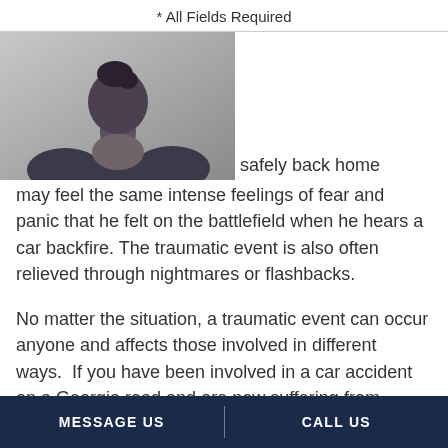* All Fields Required
[Figure (photo): Black and white photo of a person viewed from behind, hair up, shoulders bare, against a light background.]
safely back home may feel the same intense feelings of fear and panic that he felt on the battlefield when he hears a car backfire. The traumatic event is also often relieved through nightmares or flashbacks.
No matter the situation, a traumatic event can occur anyone and affects those involved in different ways.  If you have been involved in a car accident on a Georgia road and are now suffering from PTSD as a result of the crash,  you
MESSAGE US   CALL US